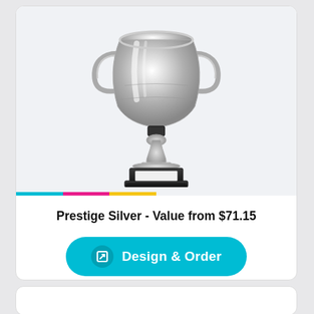[Figure (photo): Silver trophy cup with two handles and a black base with a white engraving plate, displayed on a light gray background.]
Prestige Silver - Value from $71.15
Design & Order